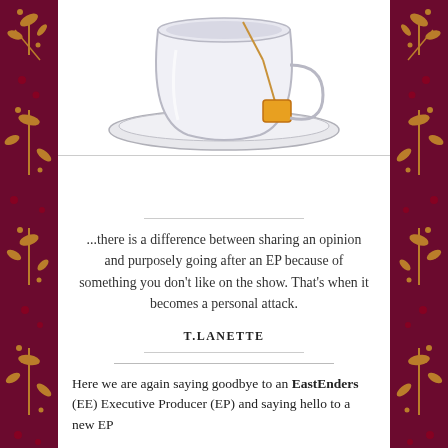[Figure (illustration): Illustration of a white teacup and saucer with an orange/yellow tea bag tag hanging over the side, on a white background with a light border.]
...there is a difference between sharing an opinion and purposely going after an EP because of something you don't like on the show. That's when it becomes a personal attack.
T.LANETTE
Here we are again saying goodbye to an EastEnders (EE) Executive Producer (EP) and saying hello to a new EP